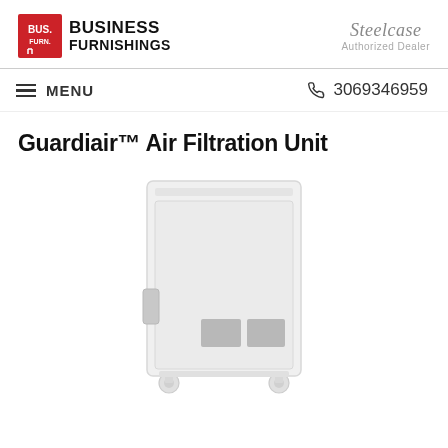Business Furnishings | Steelcase Authorized Dealer
MENU  3069346959
Guardiair™ Air Filtration Unit
[Figure (photo): Product photo of the Guardiair Air Filtration Unit — a tall white cabinet on caster wheels with two grey ventilation grille panels on the lower front door and a handle on the left side.]